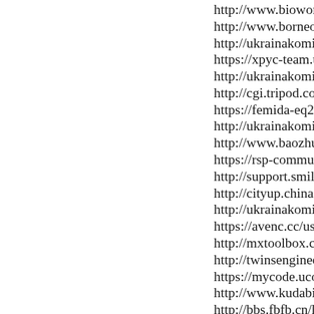http://www.bioworld.com/users/remontdesy
http://www.borneobiostation.com/community/pro
http://ukrainakomi.ru/forum/messages/forum3/to
https://xpyc-team.ucoz.net/index/8-5915
http://ukrainakomi.ru/forum/messages/forum3/to
http://cgi.tripod.com/donvalleyboards/cgi-bin/Ya
https://femida-eq2.clan.su/forum/60-2-3#22824
http://ukrainakomi.ru/forum/messages/forum3/to
http://www.baozhuangren.com/space-uid-23975.h
https://rsp-community.3dn.ru/index/8-4391
http://support.smile-net.ru/forum/user/24885/
http://cityup.chinasus.org/bbs/space-uid-275371.h
http://ukrainakomi.ru/forum/messages/forum3/to
https://avenc.cc/user/bbobyjunior8762/
http://mxtoolbox.com/domain/milwaukee.remmo
http://twinsengineeringgreatness.com/blog/admin
https://mycode.ucoz.ru/index/8-4435
http://www.kudabinal.com/thread-511.html
http://bbs.fbfb.cn/home.php?mod=space&uid=35